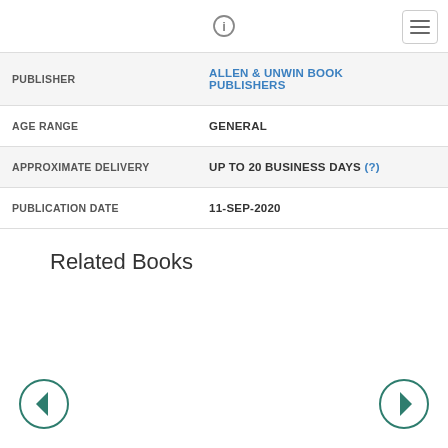ℹ
| Field | Value |
| --- | --- |
| PUBLISHER | ALLEN & UNWIN BOOK PUBLISHERS |
| AGE RANGE | GENERAL |
| APPROXIMATE DELIVERY | UP TO 20 BUSINESS DAYS (?) |
| PUBLICATION DATE | 11-SEP-2020 |
Related Books